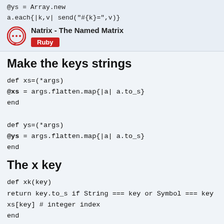@ys = Array.new
a.each{|k,v| send("#{k}=",v)}
[Figure (logo): Natrix plugin icon - circular speech bubble logo]
Natrix - The Named Matrix
Ruby
Make the keys strings
def xs=(*args)
@xs = args.flatten.map{|a| a.to_s}
end

def ys=(*args)
@ys = args.flatten.map{|a| a.to_s}
end
The x key
def xk(key)
return key.to_s if String === key or Symbol === key
xs[key] # integer index
end